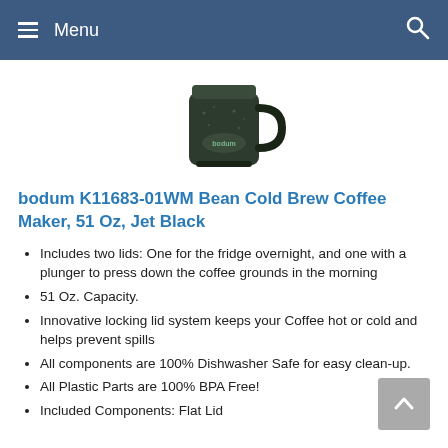≡ Menu   🔍
[Figure (photo): Bodum Bean Cold Brew Coffee Maker product photo showing the black carafe/mug with handle and bodum logo, viewed from above/side angle.]
bodum K11683-01WM Bean Cold Brew Coffee Maker, 51 Oz, Jet Black
Includes two lids: One for the fridge overnight, and one with a plunger to press down the coffee grounds in the morning
51 Oz. Capacity.
Innovative locking lid system keeps your Coffee hot or cold and helps prevent spills
All components are 100% Dishwasher Safe for easy clean-up.
All Plastic Parts are 100% BPA Free!
Included Components: Flat Lid